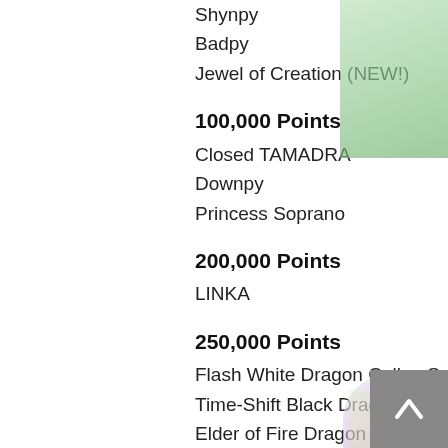Shynpy
Badpy
Jewel of Creation (NEW!)
100,000 Points
Closed TAMADRA
Downpy
Princess Soprano
200,000 Points
LINKA
250,000 Points
Flash White Dragon Caller, Sonia Elle
Time-Shift Black Dragon Caller, Sonia
Elder of Fire Dragon Caller, Eldora
Red Puppeteer, Pure
Blue Puppeteer, Charité
Green Puppeteer, Courage